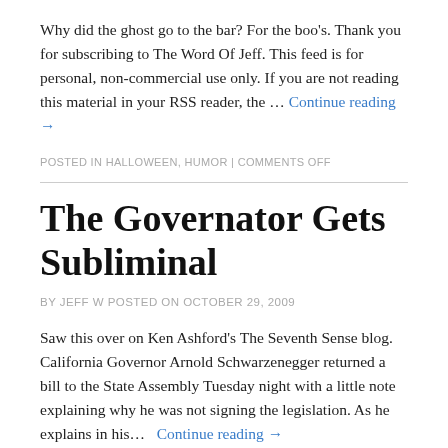Why did the ghost go to the bar? For the boo's. Thank you for subscribing to The Word Of Jeff. This feed is for personal, non-commercial use only. If you are not reading this material in your RSS reader, the … Continue reading →
posted in HALLOWEEN, HUMOR | COMMENTS OFF
The Governator Gets Subliminal
by JEFF W posted on OCTOBER 29, 2009
Saw this over on Ken Ashford's The Seventh Sense blog. California Governor Arnold Schwarzenegger returned a bill to the State Assembly Tuesday night with a little note explaining why he was not signing the legislation. As he explains in his… Continue reading →